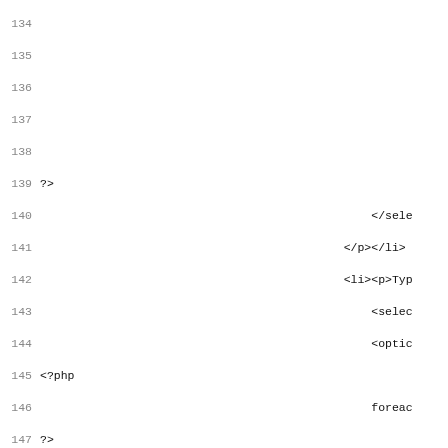Source code listing lines 134-164, PHP and HTML mixed code